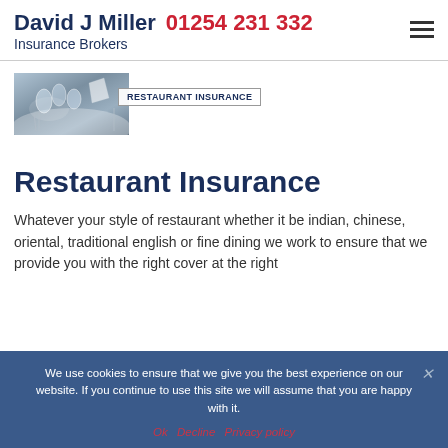David J Miller Insurance Brokers  01254 231 332
[Figure (photo): Restaurant table setting with glasses, cutlery and white napkin, with overlay label reading RESTAURANT INSURANCE]
Restaurant Insurance
Whatever your style of restaurant whether it be indian, chinese, oriental, traditional english or fine dining we work to ensure that we provide you with the right cover at the right
We use cookies to ensure that we give you the best experience on our website. If you continue to use this site we will assume that you are happy with it.

Ok  Decline  Privacy policy